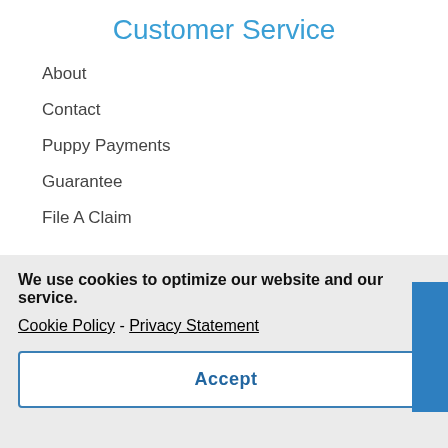Customer Service
About
Contact
Puppy Payments
Guarantee
File A Claim
Follow us
Coming soon!
[Figure (photo): Puppy image partially visible in a blue circular crop at the bottom of the page]
We use cookies to optimize our website and our service.
Cookie Policy  -  Privacy Statement
Accept
Springs, Utah